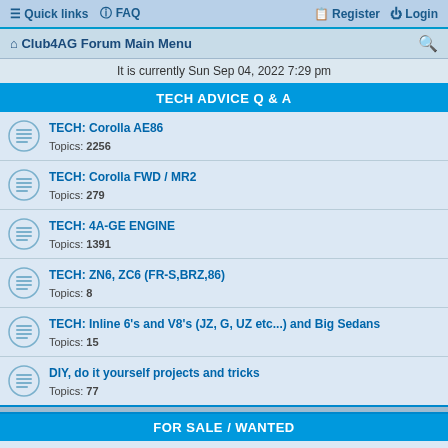Quick links  FAQ  Register  Login
Club4AG Forum Main Menu
It is currently Sun Sep 04, 2022 7:29 pm
TECH ADVICE Q & A
TECH: Corolla AE86 — Topics: 2256
TECH: Corolla FWD / MR2 — Topics: 279
TECH: 4A-GE ENGINE — Topics: 1391
TECH: ZN6, ZC6 (FR-S,BRZ,86) — Topics: 8
TECH: Inline 6's and V8's (JZ, G, UZ etc...) and Big Sedans — Topics: 15
DIY, do it yourself projects and tricks — Topics: 77
FOR SALE / WANTED
AE86 Parts & Accessories — Topics: 3058